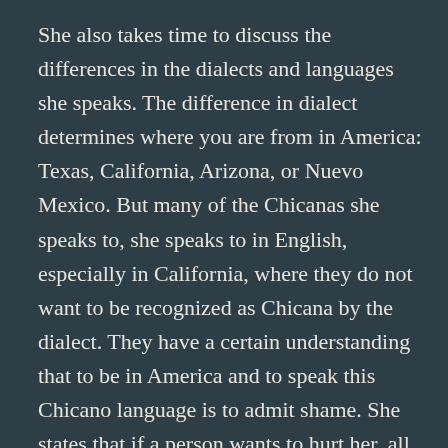She also takes time to discuss the differences in the dialects and languages she speaks. The difference in dialect determines where you are from in America: Texas, California, Arizona, or Nuevo Mexico. But many of the Chicanas she speaks to, she speaks to in English, especially in California, where they do not want to be recognized as Chicana by the dialect. They have a certain understanding that to be in America and to speak this Chicano language is to admit shame. She states that if a person wants to hurt her, all they have to do is make fun of her language.
The first time she read a book by a Chicano author written in Chicano...